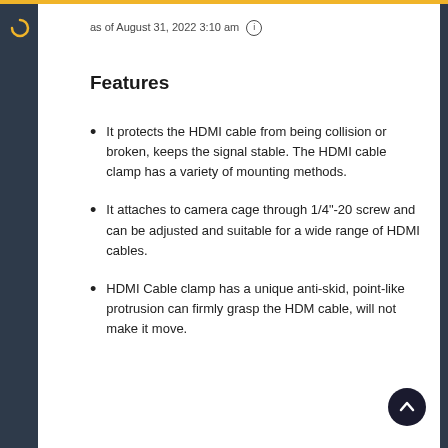as of August 31, 2022 3:10 am
Features
It protects the HDMI cable from being collision or broken, keeps the signal stable. The HDMI cable clamp has a variety of mounting methods.
It attaches to camera cage through 1/4"-20 screw and can be adjusted and suitable for a wide range of HDMI cables.
HDMI Cable clamp has a unique anti-skid, point-like protrusion can firmly grasp the HDM cable, will not make it move.